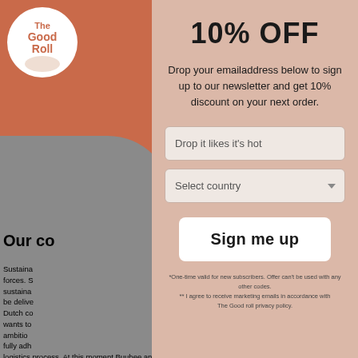[Figure (logo): The Good Roll logo - circular white badge with terracotta text on orange background]
Our co
Sustaina forces. S sustaina be delive Dutch co wants to ambitio fully adh logistics process. At this moment Buubee and The
10% OFF
Drop your emailaddress below to sign up to our newsletter and get 10% discount on your next order.
Drop it likes it's hot
Select country
Sign me up
*One-time valid for new subscribers. Offer can't be used with any other codes. ** I agree to receive marketing emails in accordance with The Good roll privacy policy.